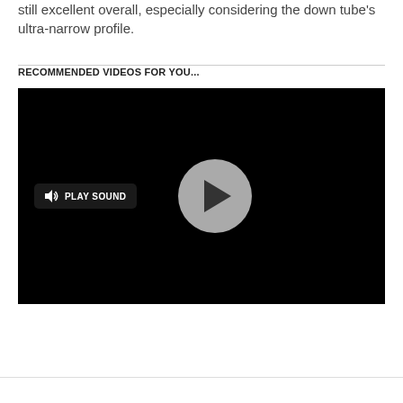still excellent overall, especially considering the down tube's ultra-narrow profile.
RECOMMENDED VIDEOS FOR YOU...
[Figure (screenshot): Embedded video player with black background, a circular gray play button in the center, and a 'PLAY SOUND' button with speaker icon on the lower left.]